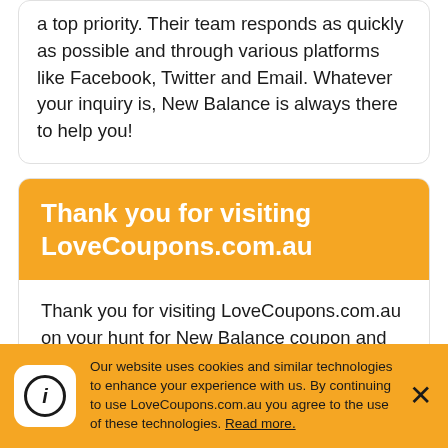a top priority. Their team responds as quickly as possible and through various platforms like Facebook, Twitter and Email. Whatever your inquiry is, New Balance is always there to help you!
Thank you for visiting LoveCoupons.com.au
Thank you for visiting LoveCoupons.com.au on your hunt for New Balance coupon and discount codes and other money-saving offers. We hope that one of our 18 New Balance coupons and offers for August 2022 help you save money on your next purchase. When you
Our website uses cookies and similar technologies to enhance your experience with us. By continuing to use LoveCoupons.com.au you agree to the use of these technologies. Read more.